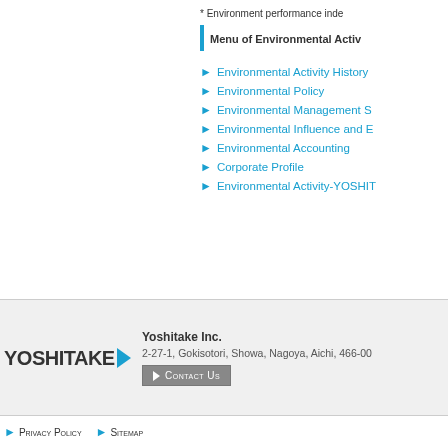* Environment performance inde…
Menu of Environmental Acti…
Environmental Activity History
Environmental Policy
Environmental Management S…
Environmental Influence and E…
Environmental Accounting
Corporate Profile
Environmental Activity-YOSHIT…
[Figure (logo): YOSHITAKE logo with blue arrow]
Yoshitake Inc.
2-27-1, Gokisotori, Showa, Nagoya, Aichi, 466-00…
Contact Us
Privacy Policy  Sitemap